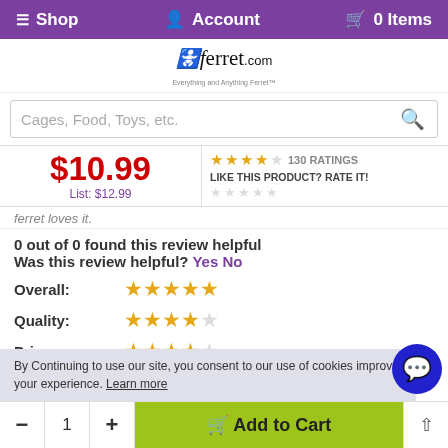Shop  Account  0 Items
[Figure (logo): ferret.com logo with ferret silhouette and tagline]
Cages, Food, Toys, etc. [search bar]
$10.99 List: $12.99
4 stars 130 RATINGS  LIKE THIS PRODUCT? RATE IT!
ferret loves it.
0 out of 0 found this review helpful
Was this review helpful? Yes No
Overall: ★★★★★
Quality: ★★★★☆
Price: ★★★★☆
By Continuing to use our site, you consent to our use of cookies improve your experience. Learn more
- 1 + Add to Cart ▲